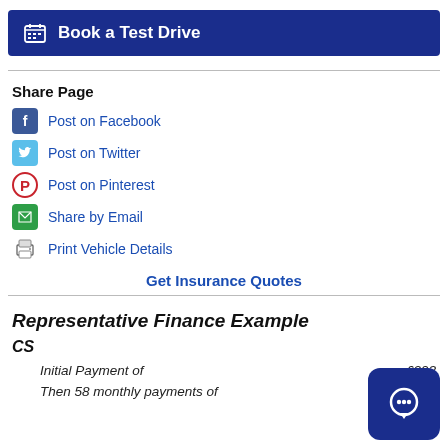Book a Test Drive
Share Page
Post on Facebook
Post on Twitter
Post on Pinterest
Share by Email
Print Vehicle Details
Get Insurance Quotes
Representative Finance Example
CS
Initial Payment of   £293
Then 58 monthly payments of   £293